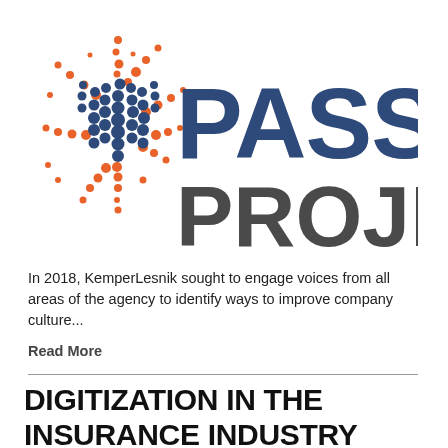[Figure (logo): Passion Project logo with starburst of orange and blue dots on left, bold dark blue text PASSION on top line, dark gray text PROJECT on second line]
In 2018, KemperLesnik sought to engage voices from all areas of the agency to identify ways to improve company culture...
Read More
DIGITIZATION IN THE INSURANCE INDUSTRY